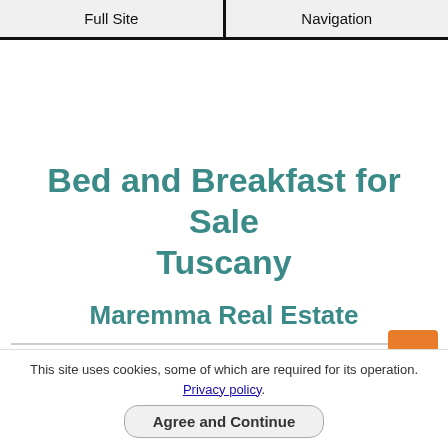Full Site | Navigation
Bed and Breakfast for Sale Tuscany
Maremma Real Estate
This site uses cookies, some of which are required for its operation. Privacy policy.
Agree and Continue